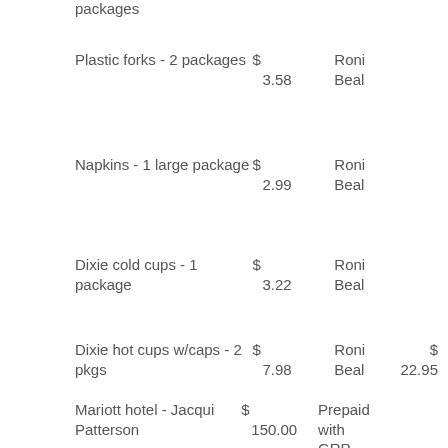packages
Plastic forks - 2 packages   $ 3.58   Roni Beal
Napkins - 1 large package   $ 2.99   Roni Beal
Dixie cold cups - 1 package   $ 3.22   Roni Beal
Dixie hot cups w/caps - 2 pkgs   $ 7.98   Roni Beal   $ 22.95
Mariott hotel - Jacqui Patterson   $ 150.00   Prepaid with GRP credit card